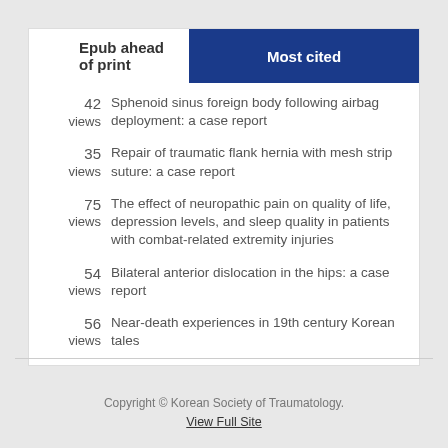Epub ahead of print
Most cited
42 views — Sphenoid sinus foreign body following airbag deployment: a case report
35 views — Repair of traumatic flank hernia with mesh strip suture: a case report
75 views — The effect of neuropathic pain on quality of life, depression levels, and sleep quality in patients with combat-related extremity injuries
54 views — Bilateral anterior dislocation in the hips: a case report
56 views — Near-death experiences in 19th century Korean tales
Copyright © Korean Society of Traumatology. View Full Site